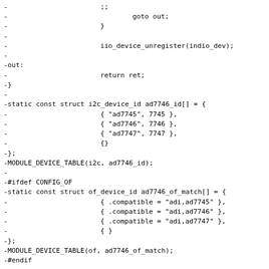-			;;
-				goto out;
-			}
-
-			iio_device_unregister(indio_dev);
-
-out:
-			return ret;
-}
-
-static const struct i2c_device_id ad7746_id[] = {
-			{ "ad7745", 7745 },
-			{ "ad7746", 7746 },
-			{ "ad7747", 7747 },
-			{}
-};
-MODULE_DEVICE_TABLE(i2c, ad7746_id);
-
-#ifdef CONFIG_OF
-static const struct of_device_id ad7746_of_match[] = {
-			{ .compatible = "adi,ad7745" },
-			{ .compatible = "adi,ad7746" },
-			{ .compatible = "adi,ad7747" },
-			{ }
-};
-MODULE_DEVICE_TABLE(of, ad7746_of_match);
-#endif
-
-
-static struct i2c_driver ad7746_driver = {
-			.driver = {
-						name = KBUILD_MODNAME